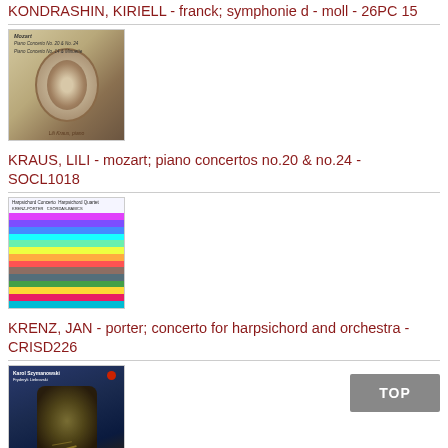KONDRASHIN, KIRIELL - franck; symphonie d - moll - 26PC 15
[Figure (photo): Album cover for Mozart piano concertos by Lili Kraus - shows woman in period dress in oval frame]
KRAUS, LILI - mozart; piano concertos no.20 & no.24 - SOCL1018
[Figure (photo): Album cover for harpsichord concerto by Krenz/Porter - colorful wavy striped abstract design]
KRENZ, JAN - porter; concerto for harpsichord and orchestra - CRISD226
[Figure (photo): Album cover for Szymanowski violin concerto no.2 - dark blue and brown tones with insect/nature imagery]
LACK, FREDELL - szymanowski; violin concerto no.2 op.61 -